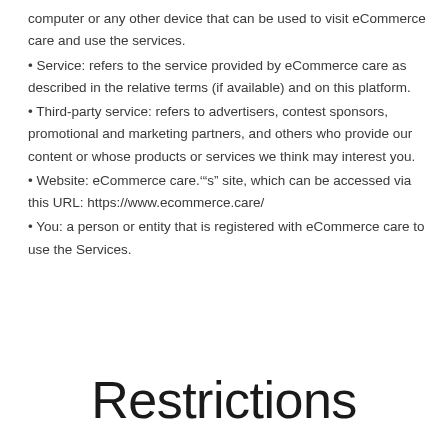computer or any other device that can be used to visit eCommerce care and use the services.
Service: refers to the service provided by eCommerce care as described in the relative terms (if available) and on this platform.
Third-party service: refers to advertisers, contest sponsors, promotional and marketing partners, and others who provide our content or whose products or services we think may interest you.
Website: eCommerce care.‘‘s” site, which can be accessed via this URL: https://www.ecommerce.care/
You: a person or entity that is registered with eCommerce care to use the Services.
Restrictions